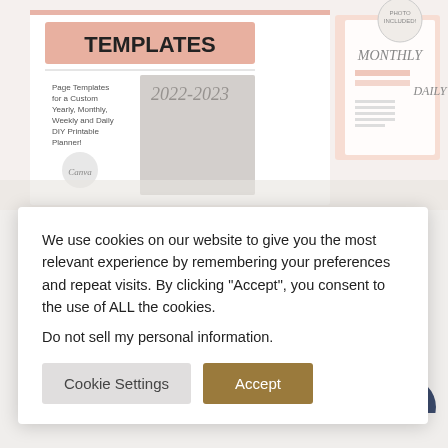[Figure (screenshot): Planner templates product mockup showing a 2022-2023 planner with monthly and daily templates, Canva branding, and text describing page templates for custom yearly, monthly, weekly and daily DIY printable planner]
We use cookies on our website to give you the most relevant experience by remembering your preferences and repeat visits. By clicking "Accept", you consent to the use of ALL the cookies.
Do not sell my personal information.
Cookie Settings
Accept
| Canva